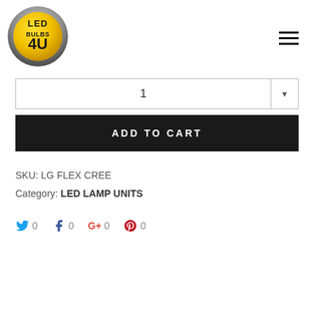[Figure (logo): LED Bulbs 4U circular logo with metallic ring, yellow/gold background, black bold text reading LED BULBS 4U]
1
ADD TO CART
SKU: LG FLEX CREE
Category: LED LAMP UNITS
0  0  +0  0